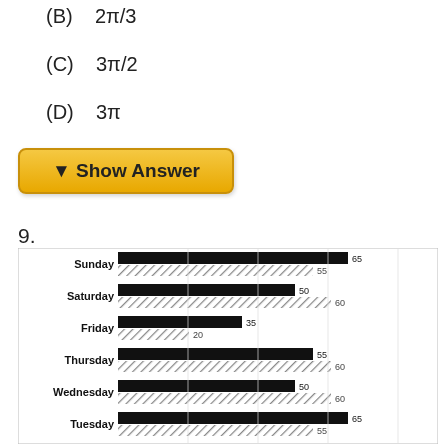(B)   2π/3
(C)   3π/2
(D)   3π
▼ Show Answer
9.
[Figure (bar-chart): ]